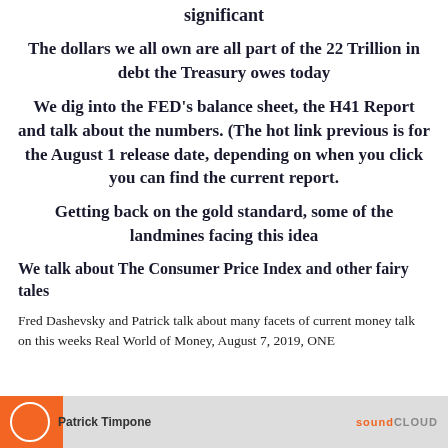significant
The dollars we all own are all part of the 22 Trillion in debt the Treasury owes today
We dig into the FED's balance sheet, the H41 Report and talk about the numbers. (The hot link previous is for the August 1 release date, depending on when you click you can find the current report.
Getting back on the gold standard, some of the landmines facing this idea
We talk about The Consumer Price Index and other fairy tales
Fred Dashevsky and Patrick talk about many facets of current money talk on this weeks Real World of Money, August 7, 2019, ONE
[Figure (screenshot): SoundCloud player bar showing Patrick Timpone with orange avatar and SoundCloud logo]